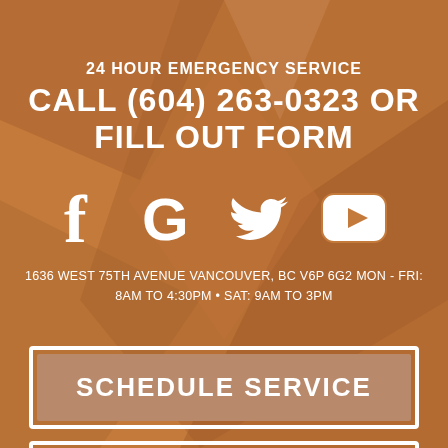24 HOUR EMERGENCY SERVICE
CALL (604) 263-0323 OR
FILL OUT FORM
[Figure (infographic): Four social media icons: Facebook (f), Google (G), Twitter (bird), YouTube (play button triangle in rounded square)]
1636 WEST 75TH AVENUE VANCOUVER, BC V6P 6G2 MON - FRI: 8AM TO 4:30PM • SAT: 9AM TO 3PM
SCHEDULE SERVICE